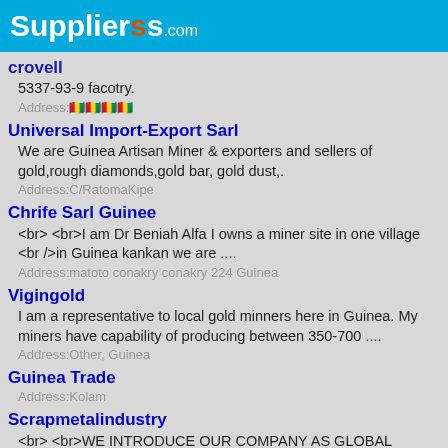SuppliersSs.com
crovell
5337-93-9 facotry.
Address:🇬🇳🇬🇳🇬🇳🇬🇳
Universal Import-Export Sarl
We are Guinea Artisan Miner & exporters and sellers of gold,rough diamonds,gold bar, gold dust,.
Address:C/RatomaKipe
Chrife Sarl Guinee
<br> <br>I am Dr Beniah Alfa I owns a miner site in one village <br />in Guinea kankan we are ....
Address:matoto conakry conakry 224 Guinea
Vigingold
I am a representative to local gold minners here in Guinea. My miners have capability of producing between 350-700 ....
Address:Other, Guinea
Guinea Trade
Address:Kolam
Scrapmetalindustry
<br> <br>WE INTRODUCE OUR COMPANY AS GLOBAL TREND INTERNATIONAL GUINEE SARL. <br />WE ARE LOCAL ....
Address:koloma kan kan kan kan 00224 Guinea
OPTEL LINKS VENTURES SL
We are Government Licensed and approved company that based on General Merchandise..